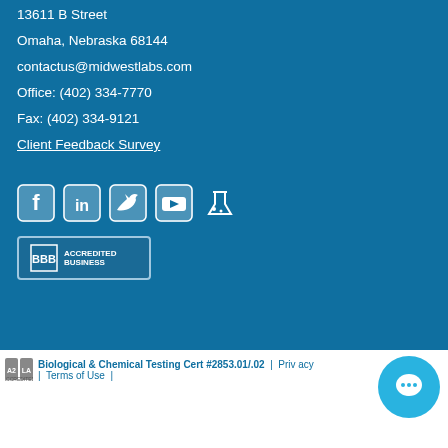13611 B Street
Omaha, Nebraska 68144
contactus@midwestlabs.com
Office: (402) 334-7770
Fax: (402) 334-9121
Client Feedback Survey
[Figure (logo): Social media icons: Facebook, LinkedIn, Twitter, YouTube, and a lab/science icon]
[Figure (logo): BBB Accredited Business badge]
Biological & Chemical Testing Cert #2853.01/.02 | Privacy | Terms of Use |